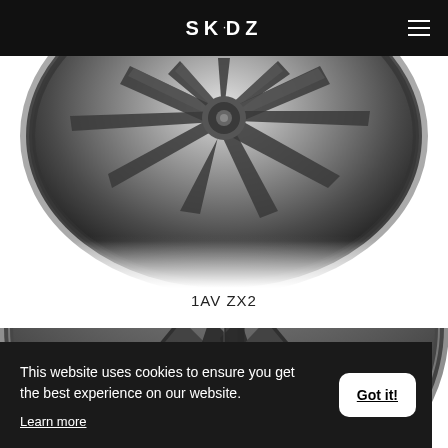SKIDZ
[Figure (photo): Close-up photo of a dark grey multi-spoke alloy wheel (1AV ZX2), viewed from a slight angle showing the spokes and rim detail against a white background]
1AV ZX2
[Figure (photo): Partial close-up of a second dark grey alloy wheel with a different spoke design, visible in the lower portion of the page]
This website uses cookies to ensure you get the best experience on our website. Learn more
Got it!